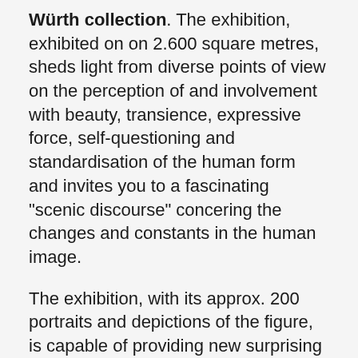Würth collection. The exhibition, exhibited on on 2.600 square metres, sheds light from diverse points of view on the perception of and involvement with beauty, transience, expressive force, self-questioning and standardisation of the human form and invites you to a fascinating "scenic discourse" concering the changes and constants in the human image.
The exhibition, with its approx. 200 portraits and depictions of the figure, is capable of providing new surprising insights into its well-known incunabula. Yet the majority of items, including spectacular recent acquisitions, have never been on the view at the Kunsthalle.
The connection between the Würth collection and painter Ivanovs was made after successful cooperation with Anna Sausverde-Ellner M.A.